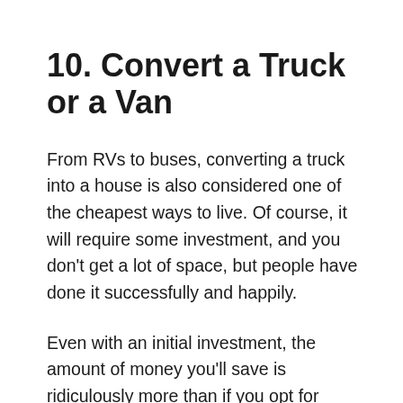10. Convert a Truck or a Van
From RVs to buses, converting a truck into a house is also considered one of the cheapest ways to live. Of course, it will require some investment, and you don't get a lot of space, but people have done it successfully and happily.
Even with an initial investment, the amount of money you'll save is ridiculously more than if you opt for standard housing. It will also depend on what truck it will be converting.